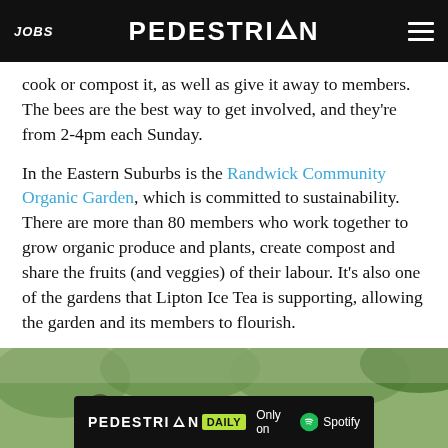JOBS | PEDESTRIAN | (menu)
cook or compost it, as well as give it away to members. The bees are the best way to get involved, and they're from 2-4pm each Sunday.
In the Eastern Suburbs is the Randwick Community Organic Garden, which is committed to sustainability. There are more than 80 members who work together to grow organic produce and plants, create compost and share the fruits (and veggies) of their labour. It's also one of the gardens that Lipton Ice Tea is supporting, allowing the garden and its members to flourish.
[Figure (photo): Community garden photo partially visible at the bottom of the page, with a Pedestrian Daily banner overlay advertising 'Only on Spotify']